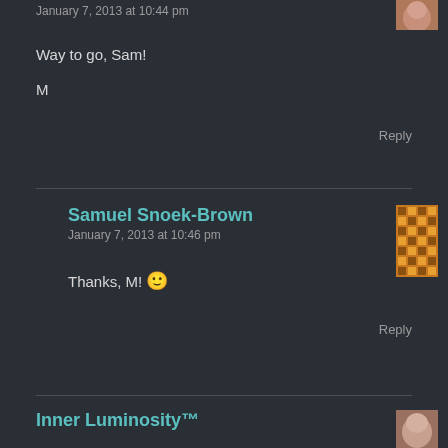January 7, 2013 at 10:44 pm
Way to go, Sam!
M
Reply
Samuel Snoek-Brown
January 7, 2013 at 10:46 pm
Thanks, M! 🙂
Reply
Inner Luminosity™